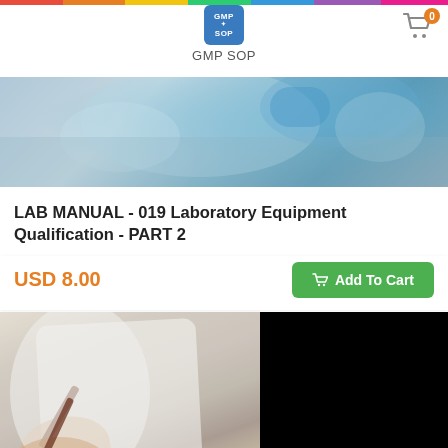[Figure (screenshot): GMP SOP website header with rainbow bar, logo, cart icon, and laboratory photo banner]
LAB MANUAL - 019 Laboratory Equipment Qualification - PART 2
USD 8.00
[Figure (photo): Person in white lab coat writing with a pen, with a yellow object in foreground; right half is black]
GMP SOP